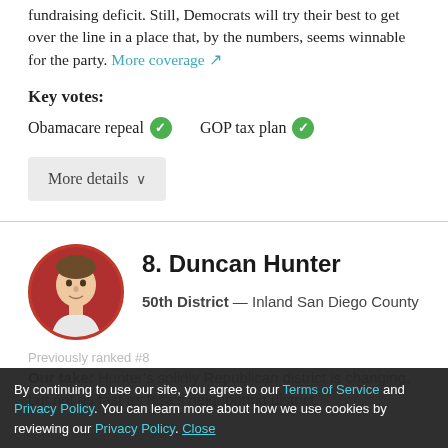fundraising deficit. Still, Democrats will try their best to get over the line in a place that, by the numbers, seems winnable for the party. More coverage ↗
Key votes:
Obamacare repeal ✓   GOP tax plan ✓
More details ∨
[Figure (photo): Circular portrait photo of Duncan Hunter against red background]
8. Duncan Hunter
50th District — Inland San Diego County
Previously ranked #8
Our take: Hunter's solidly Republican district is changing, but not as fast as Issa's neighboring district.
By continuing to use our site, you agree to our Terms of Service and Privacy Policy. You can learn more about how we use cookies by reviewing our Privacy Policy. Close